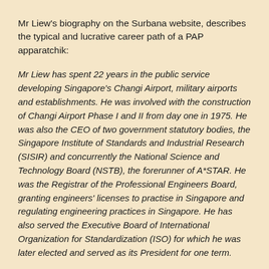Mr Liew's biography on the Surbana website, describes the typical and lucrative career path of a PAP apparatchik:
Mr Liew has spent 22 years in the public service developing Singapore's Changi Airport, military airports and establishments. He was involved with the construction of Changi Airport Phase I and II from day one in 1975. He was also the CEO of two government statutory bodies, the Singapore Institute of Standards and Industrial Research (SISIR) and concurrently the National Science and Technology Board (NSTB), the forerunner of A*STAR. He was the Registrar of the Professional Engineers Board, granting engineers' licenses to practise in Singapore and regulating engineering practices in Singapore. He has also served the Executive Board of International Organization for Standardization (ISO) for which he was later elected and served as its President for one term.